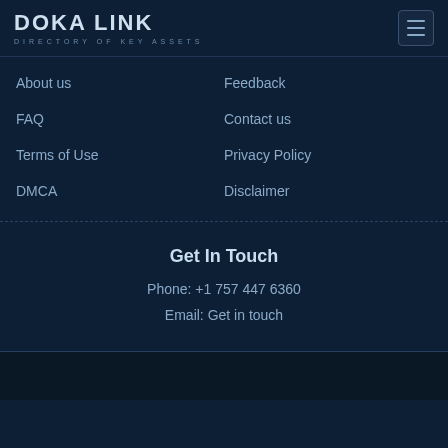DOKA LINK — DIRECTORY OF KEY ASSETS
About us
Feedback
FAQ
Contact us
Terms of Use
Privacy Policy
DMCA
Disclaimer
Get In Touch
Phone: +1 757 447 6360
Email: Get in touch